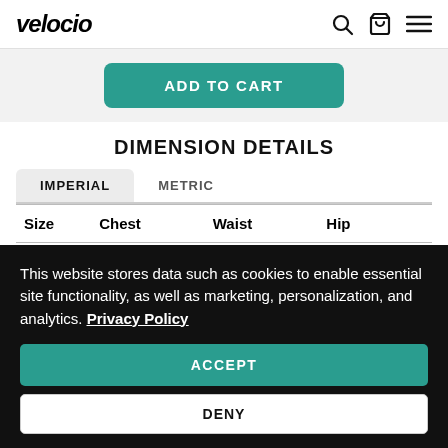velocio
ADD TO CART
DIMENSION DETAILS
| Size | Chest | Waist | Hip |
| --- | --- | --- | --- |
| XS | 33" - 35" | 27" - 29" | 34" - 36" |
| S | 35" - 37" | 29" - 31" | 36" - 38" |
This website stores data such as cookies to enable essential site functionality, as well as marketing, personalization, and analytics. Privacy Policy
ACCEPT
DENY